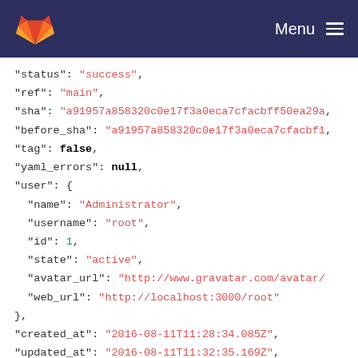GitLab — Menu
"status": "success",
"ref": "main",
"sha": "a91957a858320c0e17f3a0eca7cfacbff50ea29a",
"before_sha": "a91957a858320c0e17f3a0eca7cfacbff50ea29a",
"tag": false,
"yaml_errors": null,
"user": {
  "name": "Administrator",
  "username": "root",
  "id": 1,
  "state": "active",
  "avatar_url": "http://www.gravatar.com/avatar/...",
  "web_url": "http://localhost:3000/root"
},
"created_at": "2016-08-11T11:28:34.085Z",
"updated_at": "2016-08-11T11:32:35.169Z",
"started_at": null,
"finished_at": "2016-08-11T11:32:35.145Z",
"committed_at": null,